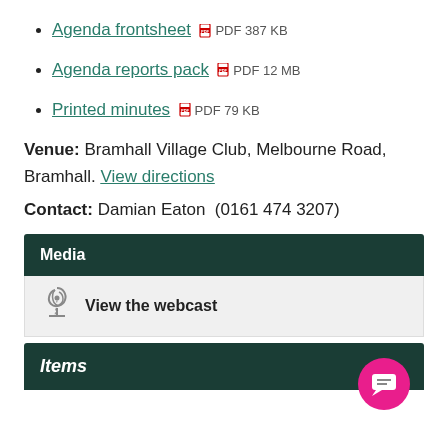Agenda frontsheet PDF 387 KB
Agenda reports pack PDF 12 MB
Printed minutes PDF 79 KB
Venue: Bramhall Village Club, Melbourne Road, Bramhall. View directions
Contact: Damian Eaton (0161 474 3207)
Media
View the webcast
Items